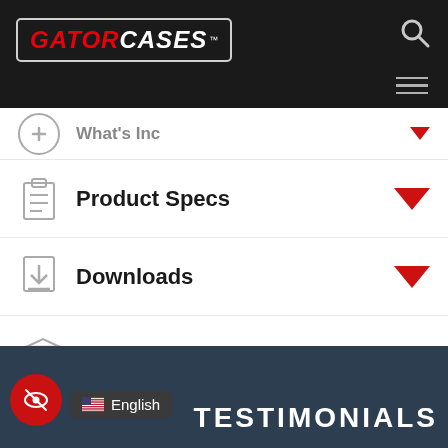Gator Cases - website header with logo, search icon, and hamburger menu
What's Inc (partially visible, collapsed)
Product Specs
Downloads
Warranty
TESTIMONIALS
English language selector